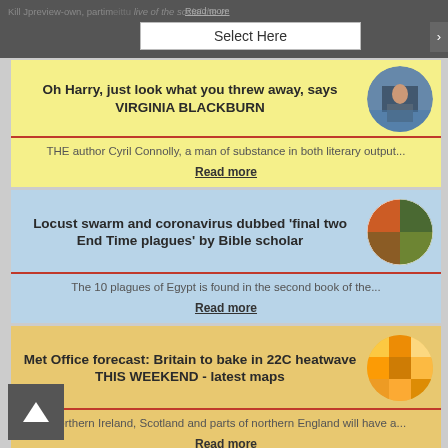Select Here
Oh Harry, just look what you threw away, says VIRGINIA BLACKBURN
THE author Cyril Connolly, a man of substance in both literary output...
Read more
Locust swarm and coronavirus dubbed 'final two End Time plagues' by Bible scholar
The 10 plagues of Egypt is found in the second book of the...
Read more
Met Office forecast: Britain to bake in 22C heatwave THIS WEEKEND - latest maps
"Northern Ireland, Scotland and parts of northern England will have a...
Read more
Fortnite update 12.60 delayed: When is the next big Fortnite patch?